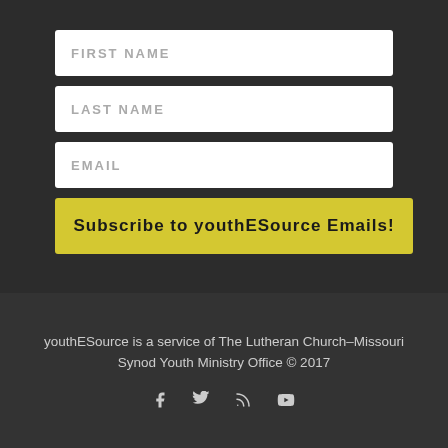[Figure (screenshot): Web form with FIRST NAME, LAST NAME, and EMAIL text input fields on dark background]
Subscribe to youthESource Emails!
youthESource is a service of The Lutheran Church–Missouri Synod Youth Ministry Office © 2017